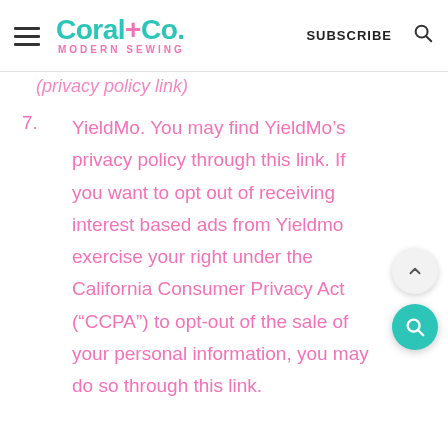Coral+Co. MODERN SEWING | SUBSCRIBE
(privacy policy link)
7. YieldMo. You may find YieldMo’s privacy policy through this link. If you want to opt out of receiving interest based ads from Yieldmo exercise your right under the California Consumer Privacy Act (“CCPA”) to opt-out of the sale of your personal information, you may do so through this link.